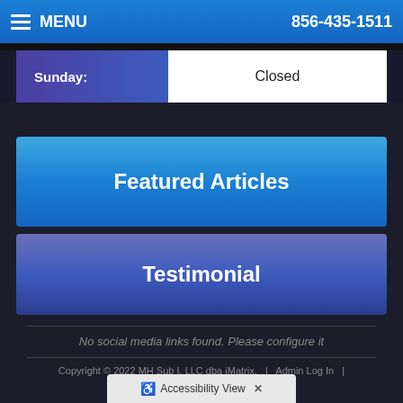MENU  856-435-1511
| Day | Hours |
| --- | --- |
| Sunday: | Closed |
Featured Articles
Testimonial
No social media links found. Please configure it
Copyright © 2022 MH Sub I, LLC dba iMatrix.  |  Admin Log In  |
Accessibility View  ×